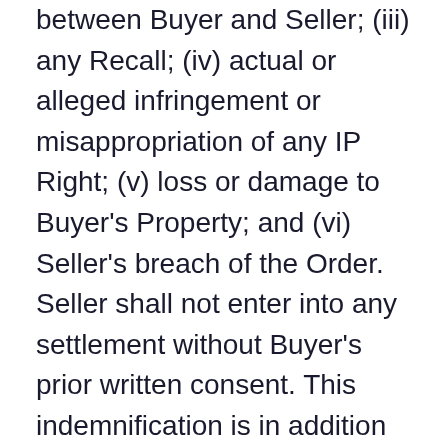between Buyer and Seller; (iii) any Recall; (iv) actual or alleged infringement or misappropriation of any IP Right; (v) loss or damage to Buyer's Property; and (vi) Seller's breach of the Order. Seller shall not enter into any settlement without Buyer's prior written consent. This indemnification is in addition to the warranty obligations of Seller.
INTELLECTUAL PROPERTY. Seller represents and warrants that the manufacture, sale, performance and use of